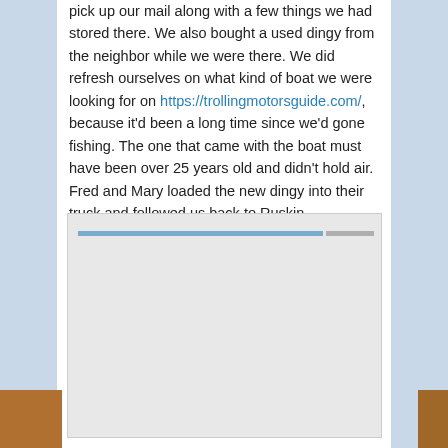pick up our mail along with a few things we had stored there. We also bought a used dingy from the neighbor while we were there. We did refresh ourselves on what kind of boat we were looking for on https://trollingmotorsguide.com/, because it'd been a long time since we'd gone fishing. The one that came with the boat must have been over 25 years old and didn't hold air. Fred and Mary loaded the new dingy into their truck and followed us back to Ruskin.
[Figure (photo): A photograph embedded in the blog page, appearing mostly as a light gray/beige rectangle with a faint blue horizontal bar near the top, likely showing a boat or waterway scene.]